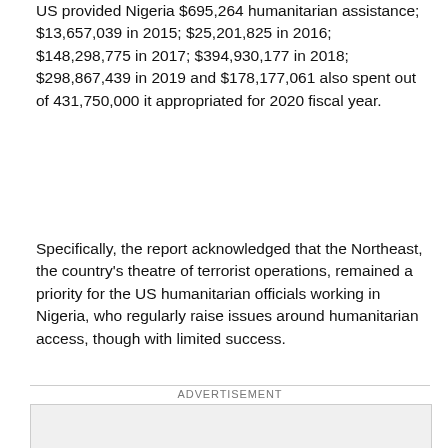US provided Nigeria $695,264 humanitarian assistance; $13,657,039 in 2015; $25,201,825 in 2016; $148,298,775 in 2017; $394,930,177 in 2018; $298,867,439 in 2019 and $178,177,061 also spent out of 431,750,000 it appropriated for 2020 fiscal year.
Specifically, the report acknowledged that the Northeast, the country's theatre of terrorist operations, remained a priority for the US humanitarian officials working in Nigeria, who regularly raise issues around humanitarian access, though with limited success.
ADVERTISEMENT